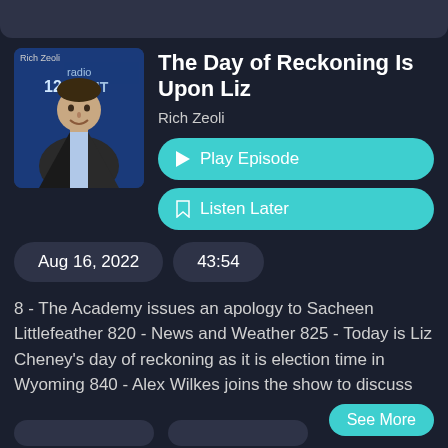[Figure (photo): Photo of Rich Zeoli, a man in a dark blazer and light blue shirt, overlaid with radio station branding '1210 WPHT Philadelphia']
The Day of Reckoning Is Upon Liz
Rich Zeoli
▶ Play Episode
🔖 Listen Later
Aug 16, 2022
43:54
8 - The Academy issues an apology to Sacheen Littlefeather 820 - News and Weather 825 - Today is Liz Cheney's day of reckoning as it is election time in Wyoming 840 - Alex Wilkes joins the show to discuss
See More